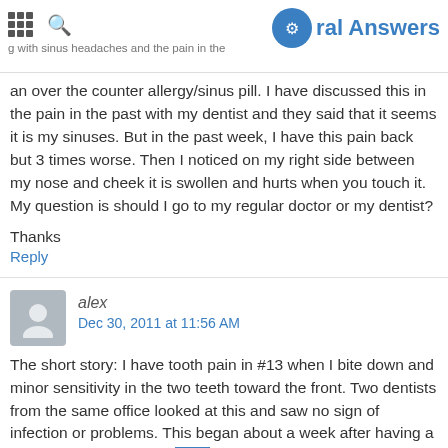Oral Answers
an over the counter allergy/sinus pill. I have discussed this in the pain in the past with my dentist and they said that it seems it is my sinuses. But in the past week, I have this pain back but 3 times worse. Then I noticed on my right side between my nose and cheek it is swollen and hurts when you touch it. My question is should I go to my regular doctor or my dentist?
Thanks
Reply
alex
Dec 30, 2011 at 11:56 AM
The short story: I have tooth pain in #13 when I bite down and minor sensitivity in the two teeth toward the front. Two dentists from the same office looked at this and saw no sign of infection or problems. This began about a week after having a crown replaced on #19. They suggested I was grinding my teeth and it would go away. They altered